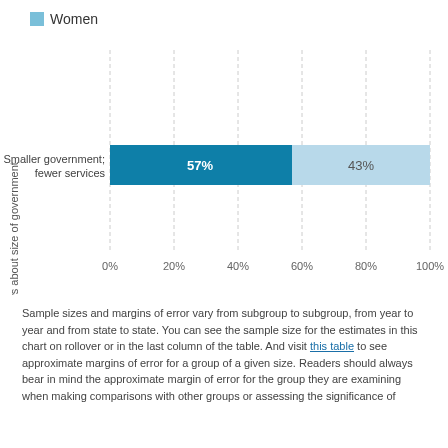[Figure (stacked-bar-chart): ]
Sample sizes and margins of error vary from subgroup to subgroup, from year to year and from state to state. You can see the sample size for the estimates in this chart on rollover or in the last column of the table. And visit this table to see approximate margins of error for a group of a given size. Readers should always bear in mind the approximate margin of error for the group they are examining when making comparisons with other groups or assessing the significance of